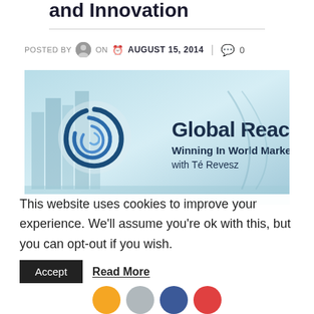and Innovation
POSTED BY  ON  AUGUST 15, 2014  |  0
[Figure (illustration): Global Reach - Winning In World Markets with Té Revesz. Promotional banner image showing a stylized globe/spiral logo alongside a cityscape background with the text in dark navy.]
This website uses cookies to improve your experience. We'll assume you're ok with this, but you can opt-out if you wish.
Accept  Read More